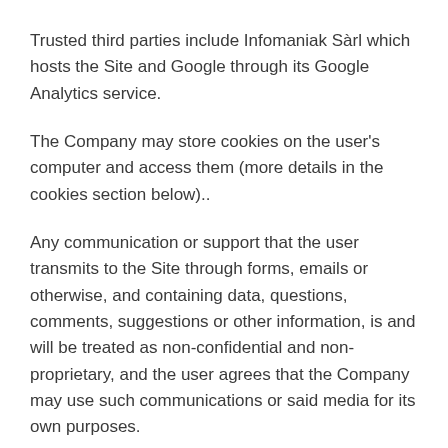Trusted third parties include Infomaniak Sàrl which hosts the Site and Google through its Google Analytics service.
The Company may store cookies on the user's computer and access them (more details in the cookies section below)..
Any communication or support that the user transmits to the Site through forms, emails or otherwise, and containing data, questions, comments, suggestions or other information, is and will be treated as non-confidential and non-proprietary, and the user agrees that the Company may use such communications or said media for its own purposes.
The Company reserves the right to send certain communications to the user, by virtue of